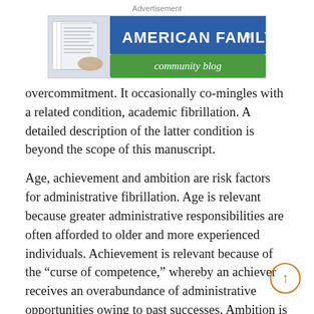Advertisement
[Figure (logo): American Family Physician community blog advertisement banner with blue header and green sub-banner]
overcommitment. It occasionally co-mingles with a related condition, academic fibrillation. A detailed description of the latter condition is beyond the scope of this manuscript.
Age, achievement and ambition are risk factors for administrative fibrillation. Age is relevant because greater administrative responsibilities are often afforded to older and more experienced individuals. Achievement is relevant because of the “curse of competence,” whereby an achiever receives an overabundance of administrative opportunities owing to past successes. Ambition is the most dangerous risk factor, providing a steady stream of stimulation to the fibrillation process until burnout occurs. A powerful multiplier effect exists when multiple risk factors are